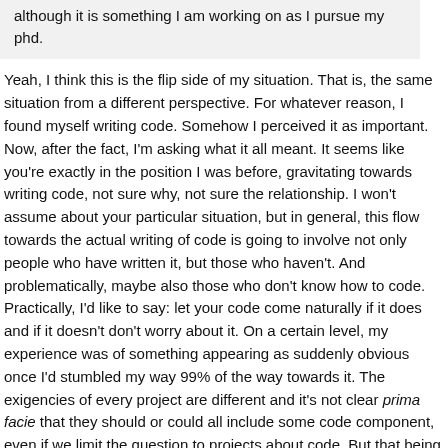although it is something I am working on as I pursue my phd.
Yeah, I think this is the flip side of my situation. That is, the same situation from a different perspective. For whatever reason, I found myself writing code. Somehow I perceived it as important. Now, after the fact, I'm asking what it all meant. It seems like you're exactly in the position I was before, gravitating towards writing code, not sure why, not sure the relationship. I won't assume about your particular situation, but in general, this flow towards the actual writing of code is going to involve not only people who have written it, but those who haven't. And problematically, maybe also those who don't know how to code. Practically, I'd like to say: let your code come naturally if it does and if it doesn't don't worry about it. On a certain level, my experience was of something appearing as suddenly obvious once I'd stumbled my way 99% of the way towards it. The exigencies of every project are different and it's not clear prima facie that they should or could all include some code component, even if we limit the question to projects about code. But that being said, there's also that mysterious (/funding-based, maybe) push towards coding about it, whatever it is.